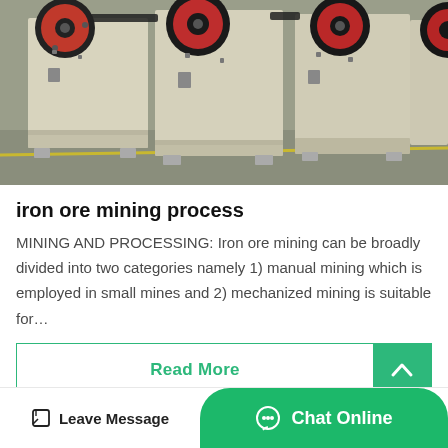[Figure (photo): Photograph of multiple industrial jaw crusher machines lined up in a factory/warehouse, painted cream/off-white with red flywheel accent rings, on a grey floor.]
iron ore mining process
MINING AND PROCESSING: Iron ore mining can be broadly divided into two categories namely 1) manual mining which is employed in small mines and 2) mechanized mining is suitable for…
Read More
Leave Message   Chat Online